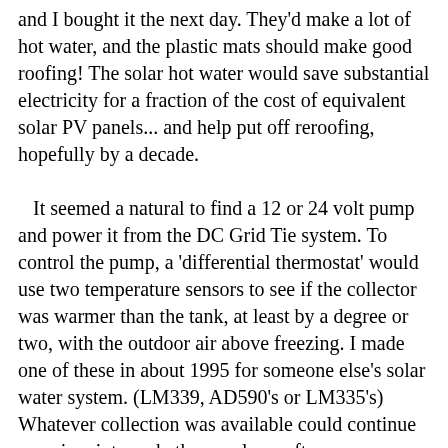and I bought it the next day. They'd make a lot of hot water, and the plastic mats should make good roofing! The solar hot water would save substantial electricity for a fraction of the cost of equivalent solar PV panels... and help put off reroofing, hopefully by a decade.

It seemed a natural to find a 12 or 24 volt pump and power it from the DC Grid Tie system. To control the pump, a 'differential thermostat' would use two temperature sensors to see if the collector was warmer than the tank, at least by a degree or two, with the outdoor air above freezing. I made one of these in about 1995 for someone else's solar water system. (LM339, AD590's or LM335's) Whatever collection was available could continue even in winter, whether rarely or often.
   And I'd have another useful module that can be added to the DC Grid Tie system!
   I considered garden and marine supply DC pumps, until the people pointed out that most of these weren't made for continuous operation, were less energy efficient than AC, and were all made for cold water, not hot. The higher flow rate and pressure of the AC pump was also desirable, and to